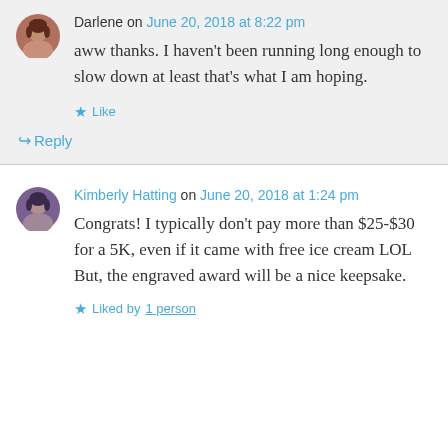Darlene on June 20, 2018 at 8:22 pm
aww thanks. I haven't been running long enough to slow down at least that's what I am hoping.
Like
Reply
Kimberly Hatting on June 20, 2018 at 1:24 pm
Congrats! I typically don't pay more than $25-$30 for a 5K, even if it came with free ice cream LOL But, the engraved award will be a nice keepsake.
Liked by 1 person